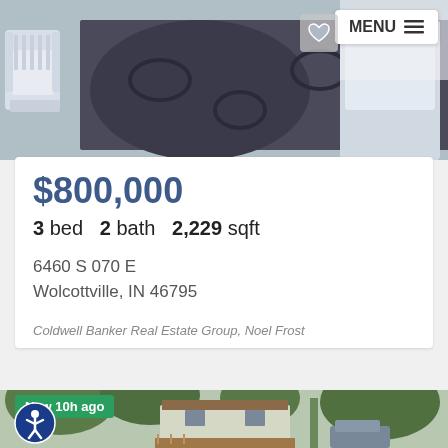[Figure (photo): Outdoor porch/deck scene with white chairs and a patterned rug, sunlit setting]
$800,000
3 bed  2 bath  2,229 sqft
6460 S 070 E
Wolcottville, IN 46795
Coldwell Banker Real Estate Group, Noel Frost
[Figure (photo): Two-story house with a wood deck and trees in background, new listing photo]